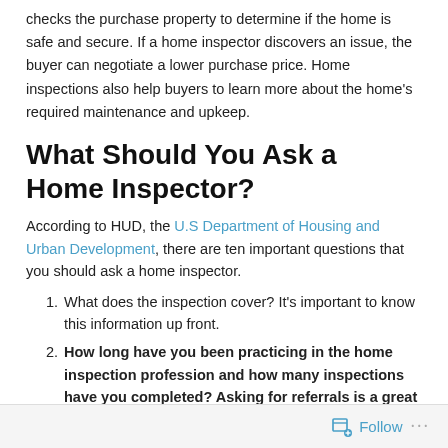checks the purchase property to determine if the home is safe and secure. If a home inspector discovers an issue, the buyer can negotiate a lower purchase price. Home inspections also help buyers to learn more about the home's required maintenance and upkeep.
What Should You Ask a Home Inspector?
According to HUD, the U.S Department of Housing and Urban Development, there are ten important questions that you should ask a home inspector.
What does the inspection cover? It's important to know this information up front.
How long have you been practicing in the home inspection profession and how many inspections have you completed? Asking for referrals is a great way to determine your if your inspector is qualified.
Are your specifically experienced in residential inspection? You want an inspector trained in residential home inspection.
Follow ...